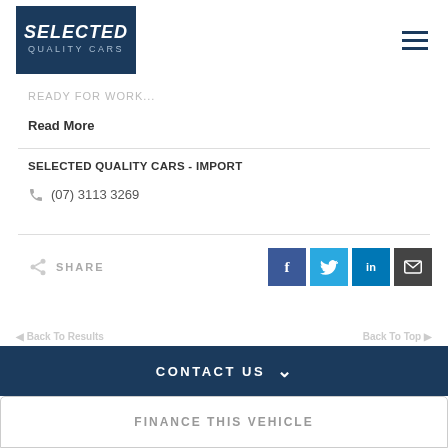[Figure (logo): Selected Quality Cars logo - dark navy blue box with white bold italic SELECTED text and light blue QUALITY CARS text below]
READY FOR WORK...
Read More
SELECTED QUALITY CARS - IMPORT
(07) 3113 3269
SHARE
CONTACT US
FINANCE THIS VEHICLE